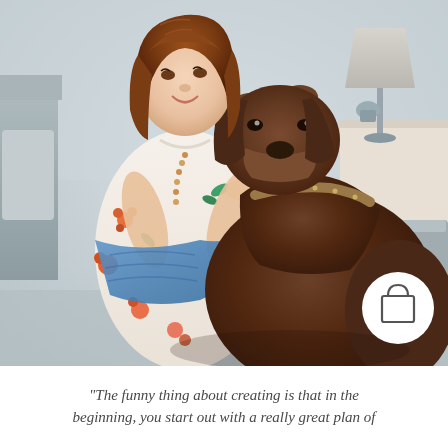[Figure (photo): A woman with auburn/red hair wearing a white floral-embroidered dress sits on or near a grey sofa, smiling and interacting with a large chocolate Labrador dog that has its paws raised up toward her. She holds a blue knitted or crocheted textile. A grey lamp and nightstand are visible in the background upper right. A white circular shopping bag icon overlay appears in the lower right corner of the photo.]
"The funny thing about creating is that in the beginning, you start out with a really great plan of